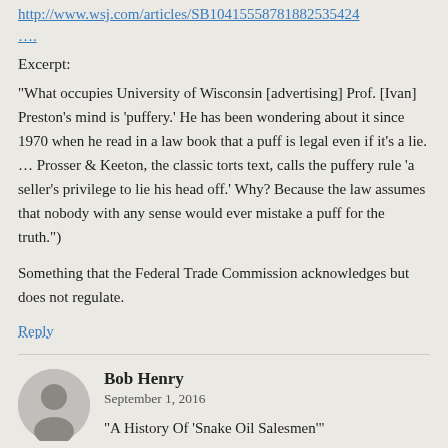http://www.wsj.com/articles/SB10415558781882535424
....
Excerpt:
“What occupies University of Wisconsin [advertising] Prof. [Ivan] Preston’s mind is ‘puffery.’ He has been wondering about it since 1970 when he read in a law book that a puff is legal even if it’s a lie. … Prosser & Keeton, the classic torts text, calls the puffery rule ‘a seller’s privilege to lie his head off.’ Why? Because the law assumes that nobody with any sense would ever mistake a puff for the truth.”)
Something that the Federal Trade Commission acknowledges but does not regulate.
Reply
Bob Henry
September 1, 2016
“A History Of ‘Snake Oil Salesmen’”
http://www.npr.org/sections/codeswitch/2013/08/26/